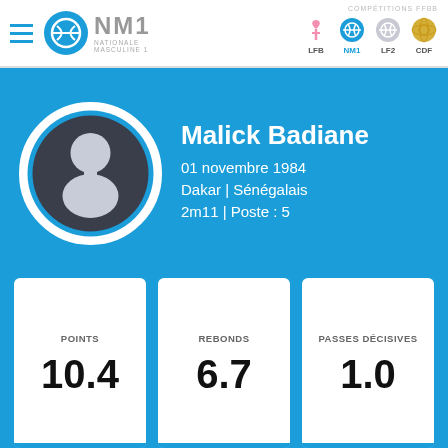NM1 NATIONALE MASCULINE 1 | COMPÉTITIONS FFBB | LFB | NM1 | LF2 | CDF
Malick Badiane
01 novembre 1984
Dakar | Sénégalais
2m11 | Poste : 5
| POINTS | REBONDS | PASSES DÉCISIVES |
| --- | --- | --- |
| 10.4 | 6.7 | 1.0 |